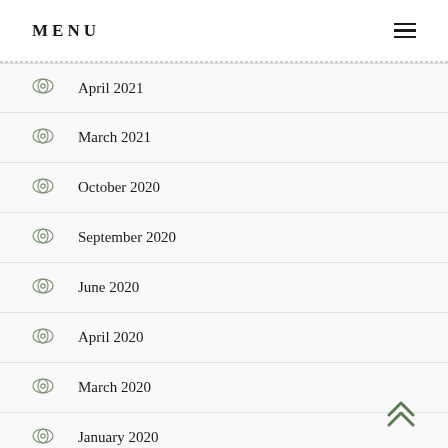MENU
April 2021
March 2021
October 2020
September 2020
June 2020
April 2020
March 2020
January 2020
November 2019